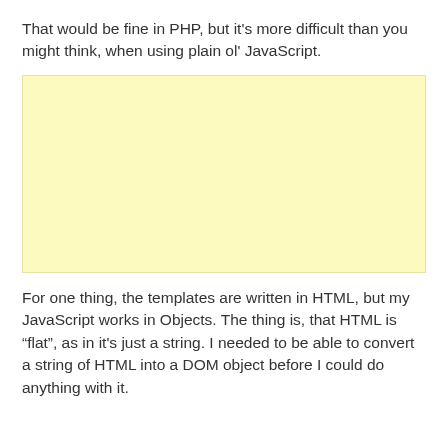That would be fine in PHP, but it's more difficult than you might think, when using plain ol' JavaScript.
[Figure (other): A blank yellow/cream colored rectangular placeholder box, likely an advertisement or image placeholder.]
For one thing, the templates are written in HTML, but my JavaScript works in Objects. The thing is, that HTML is “flat”, as in it's just a string. I needed to be able to convert a string of HTML into a DOM object before I could do anything with it.